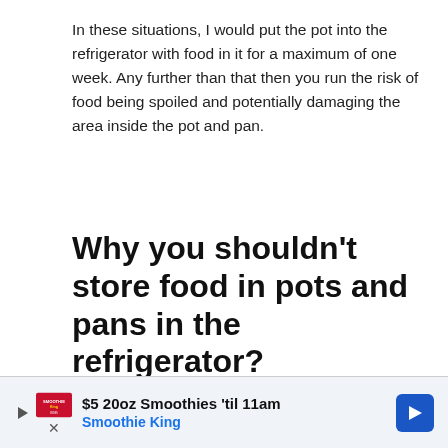In these situations, I would put the pot into the refrigerator with food in it for a maximum of one week. Any further than that then you run the risk of food being spoiled and potentially damaging the area inside the pot and pan.
Why you shouldn’t store food in pots and pans in the refrigerator?
Storing food in pots and pans is not safe for a variety of reasons. First of all, it can lead to cross
[Figure (other): Advertisement banner for Smoothie King: '$5 20oz Smoothies ’til 11am' with Smoothie King logo and a blue diamond arrow icon]